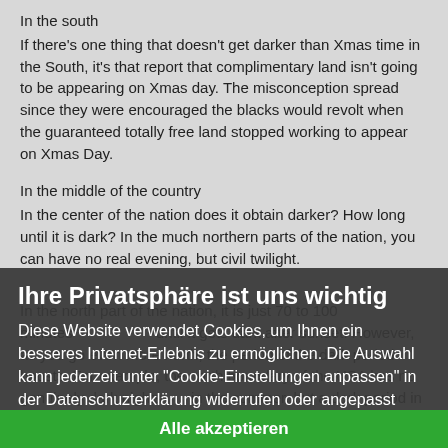In the south
If there's one thing that doesn't get darker than Xmas time in the South, it's that report that complimentary land isn't going to be appearing on Xmas day. The misconception spread since they were encouraged the blacks would revolt when the guaranteed totally free land stopped working to appear on Xmas Day.
In the middle of the country
In the center of the nation does it obtain darker? How long until it is dark? In the much northern parts of the nation, you can have no real evening, but civil twilight.
In the north part of the nation, it is just 70 to 100 minutes until it gets dark after sunset. However, as you go even more north, the period of the dark period boosts. For example, the north boundary of the USA has no genuinely dark nights in the summer, but a dark period in the year is only two hours long in some locations of the country.
Ihre Privatsphäre ist uns wichtig
Diese Website verwendet Cookies, um Ihnen ein besseres Internet-Erlebnis zu ermöglichen. Die Auswahl kann jederzeit unter "Cookie-Einstellungen anpassen" in der Datenschuzterklärung widerrufen oder angepasst werden.
Alle akzeptieren